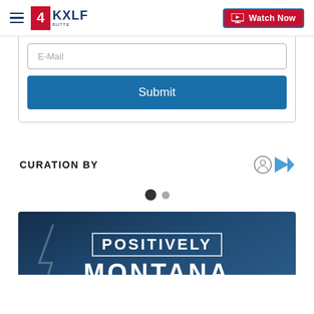4KXLF BUTTE | Watch Now
[Figure (screenshot): Email input field with placeholder text E-Mail and a blue Submit button below it, inside a white card with border]
CURATION BY
[Figure (infographic): Pagination dots: one filled dark circle and one smaller grey circle]
[Figure (photo): Positively Montana promotional banner with white text on dark blue background with lightning bolt graphic]
[Figure (other): Dark circular close button with X symbol]